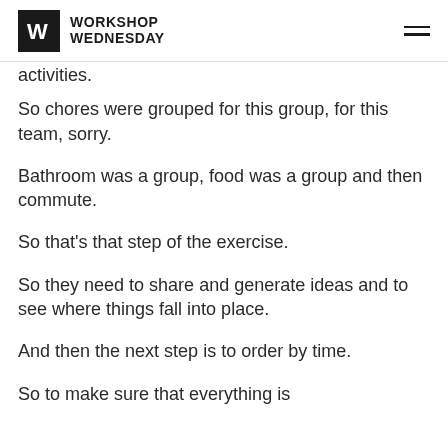WORKSHOP WEDNESDAY
activities.
So chores were grouped for this group, for this team, sorry.
Bathroom was a group, food was a group and then commute.
So that's that step of the exercise.
So they need to share and generate ideas and to see where things fall into place.
And then the next step is to order by time.
So to make sure that everything is